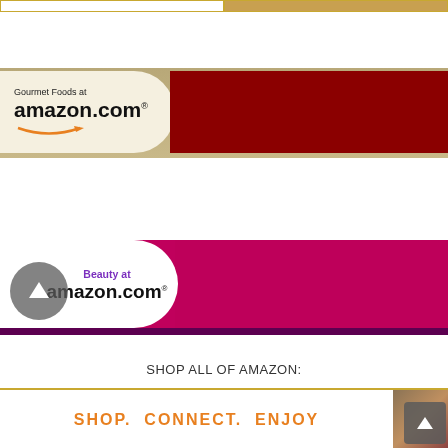[Figure (other): Top partial banner with two sections - left white with gold border, right tan/gold background]
[Figure (other): Gourmet Foods at amazon.com banner - cream left panel with curved right edge, dark red right panel, tan border top and bottom]
[Figure (other): Beauty at amazon.com banner - white left panel with curved right edge, crimson/magenta right background, purple bottom bar, with circular scroll-up arrow overlay]
SHOP ALL OF AMAZON:
[Figure (other): Bottom Amazon banner with SHOP. CONNECT. ENJOY text in orange and product image on right]